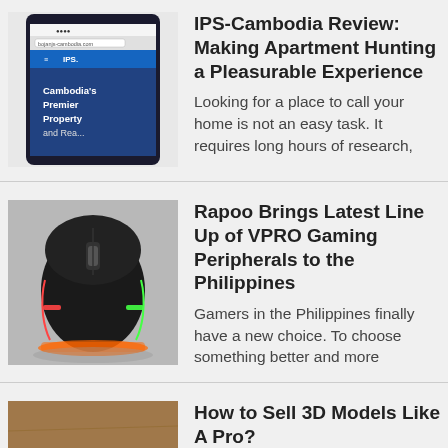[Figure (screenshot): Screenshot of IPS-Cambodia website on a mobile phone]
IPS-Cambodia Review: Making Apartment Hunting a Pleasurable Experience
Looking for a place to call your home is not an easy task. It requires long hours of research,
[Figure (photo): Gaming mouse with RGB lighting, Rapoo VPRO]
Rapoo Brings Latest Line Up of VPRO Gaming Peripherals to the Philippines
Gamers in the Philippines finally have a new choice. To choose something better and more
[Figure (photo): Laptop on a desk with notebook and glasses, overhead view]
How to Sell 3D Models Like A Pro?
Selling 3D models isn't as easy as slapping some vertices together and uploading it somewhere.